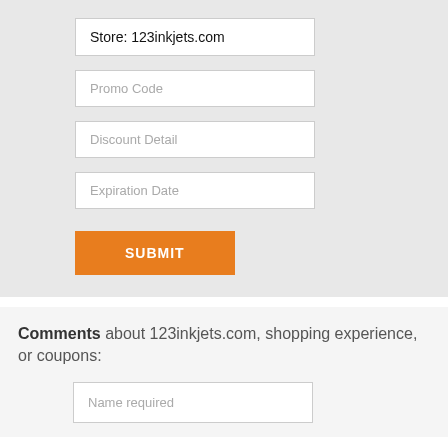Store: 123inkjets.com
Promo Code
Discount Detail
Expiration Date
SUBMIT
Comments about 123inkjets.com, shopping experience, or coupons:
Name required